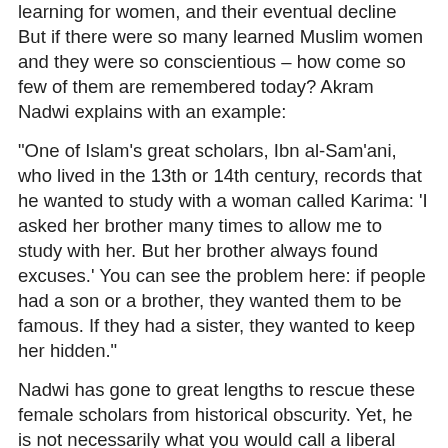learning for women, and their eventual decline But if there were so many learned Muslim women and they were so conscientious – how come so few of them are remembered today? Akram Nadwi explains with an example:
"One of Islam's great scholars, Ibn al-Sam'ani, who lived in the 13th or 14th century, records that he wanted to study with a woman called Karima: 'I asked her brother many times to allow me to study with her. But her brother always found excuses.' You can see the problem here: if people had a son or a brother, they wanted them to be famous. If they had a sister, they wanted to keep her hidden."
Nadwi has gone to great lengths to rescue these female scholars from historical obscurity. Yet, he is not necessarily what you would call a liberal Muslim. Nadwi has worked with the European Fatwarat, which is linked to the Muslim Brotherhood. Nor does he call himself a feminist.
"But feminism and I do agree on one thing," Akram Nadwi concedes. "I do believe that women have been oppressed and that we should work hard to defend their rights and give